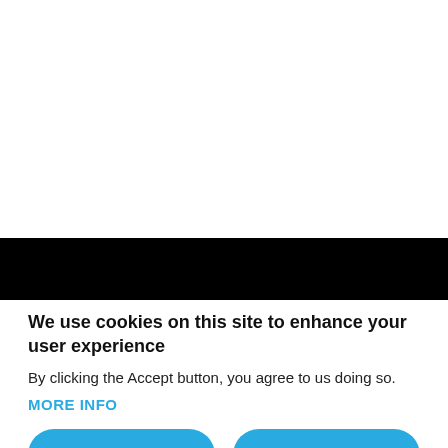[Figure (screenshot): White area at top of page, representing obscured website content]
[Figure (screenshot): Black bar across the page, representing a dark UI element or overlay]
We use cookies on this site to enhance your user experience
By clicking the Accept button, you agree to us doing so.
MORE INFO
ACCEPT
NO, THANKS